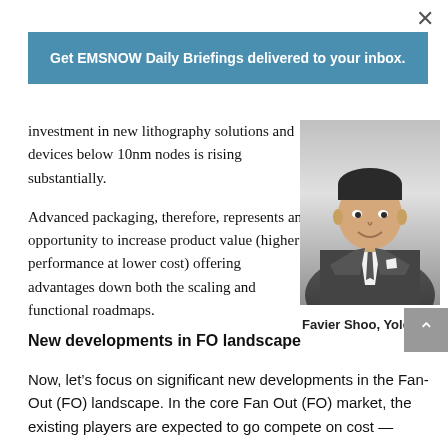×
Get EMSNOW Daily Briefings delivered to your inbox.
investment in new lithography solutions and devices below 10nm nodes is rising substantially.
Advanced packaging, therefore, represents an opportunity to increase product value (higher performance at lower cost) offering advantages down both the scaling and functional roadmaps.
[Figure (photo): Black and white headshot photo of Favier Shoo from Yole, a man in a suit and tie, smiling]
Favier Shoo, Yole.
New developments in FO landscape
Now, let's focus on significant new developments in the Fan-Out (FO) landscape. In the core Fan Out (FO) market, the existing players are expected to go compete on cost —